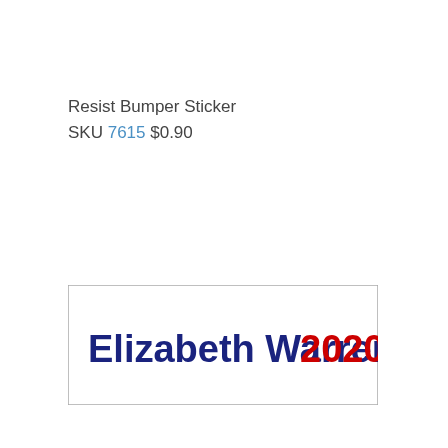Resist Bumper Sticker
SKU 7615 $0.90
[Figure (illustration): Bumper sticker image showing 'Elizabeth Warren 2020' text in dark blue bold font for 'Elizabeth Warren' and red bold font for '2020', on a white background inside a rectangular border.]